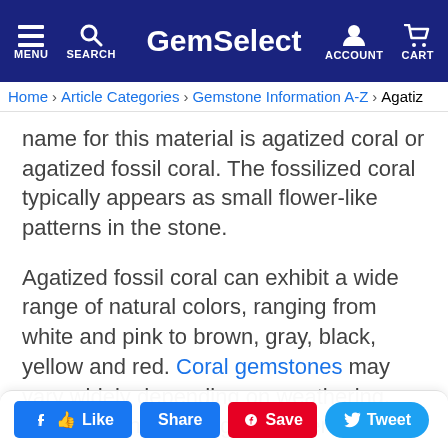GemSelect — MENU SEARCH ACCOUNT CART
Home > Article Categories > Gemstone Information A-Z > Agatiz...
name for this material is agatized coral or agatized fossil coral. The fossilized coral typically appears as small flower-like patterns in the stone.
Agatized fossil coral can exhibit a wide range of natural colors, ranging from white and pink to brown, gray, black, yellow and red. Coral gemstones may vary widely depending on weathering, oxidation and the original mineral content.